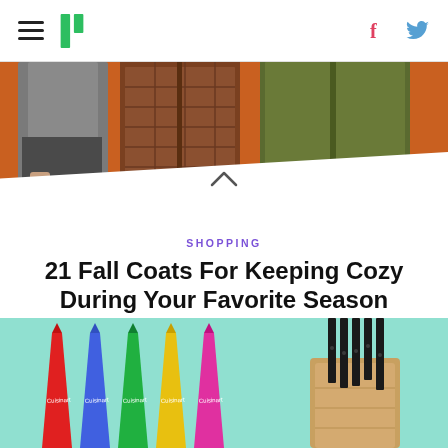HuffPost navigation with hamburger menu, logo, Facebook and Twitter icons
[Figure (photo): Three people wearing fall coats standing against an orange background — left figure in grey coat, center in quilted brown jacket, right in olive green jacket]
SHOPPING
21 Fall Coats For Keeping Cozy During Your Favorite Season
[Figure (photo): Colorful Cuisinart knife set with sheaths on left (red, blue, green, yellow, pink) and a wooden knife block with black-handled knives on the right, against a teal background]